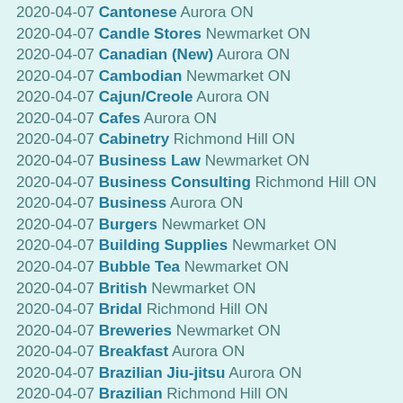2020-04-07 Cantonese Aurora ON
2020-04-07 Candle Stores Newmarket ON
2020-04-07 Canadian (New) Aurora ON
2020-04-07 Cambodian Newmarket ON
2020-04-07 Cajun/Creole Aurora ON
2020-04-07 Cafes Aurora ON
2020-04-07 Cabinetry Richmond Hill ON
2020-04-07 Business Law Newmarket ON
2020-04-07 Business Consulting Richmond Hill ON
2020-04-07 Business Aurora ON
2020-04-07 Burgers Newmarket ON
2020-04-07 Building Supplies Newmarket ON
2020-04-07 Bubble Tea Newmarket ON
2020-04-07 British Newmarket ON
2020-04-07 Bridal Richmond Hill ON
2020-04-07 Breweries Newmarket ON
2020-04-07 Breakfast Aurora ON
2020-04-07 Brazilian Jiu-jitsu Aurora ON
2020-04-07 Brazilian Richmond Hill ON
2020-04-07 Boxing Aurora ON
2020-04-07 Bookstores Newmarket ON
2020-04-07 Books, Mags, Music Aurora ON
2020-04-07 Bookkeepers Richmond Hill ON